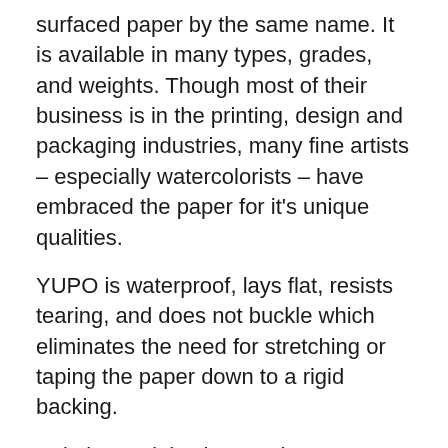surfaced paper by the same name. It is available in many types, grades, and weights. Though most of their business is in the printing, design and packaging industries, many fine artists – especially watercolorists – have embraced the paper for it's unique qualities.
YUPO is waterproof, lays flat, resists tearing, and does not buckle which eliminates the need for stretching or taping the paper down to a rigid backing.
Painting on it is also a unique experience.
Or, as I tell my watercolor students when they are painting too tightly and need a good loosening up, “it's like ice skating while drunk.”
This paper will definitely throw you out of your comfort zone. It is like normal Hot Press watercolor paper on